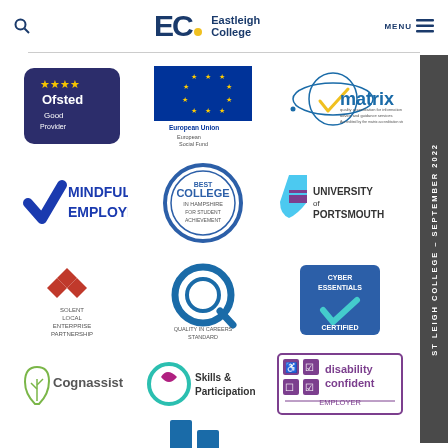Eastleigh College — page header with logo, search, and menu
[Figure (logo): Ofsted Good Provider badge — dark navy rounded square with Ofsted stars logo]
[Figure (logo): European Union European Social Fund logo — EU flag with text]
[Figure (logo): Matrix logo — quality accreditation for information advice and guidance services]
[Figure (logo): Mindful Employer logo — blue checkmark with MINDFUL EMPLOYER text]
[Figure (logo): Best College in Hampshire for Student Achievement circular badge]
[Figure (logo): University of Portsmouth logo — purple shield with university name]
[Figure (logo): Solent Local Enterprise Partnership logo]
[Figure (logo): Quality in Careers Standard logo]
[Figure (logo): Cyber Essentials Certified badge]
[Figure (logo): Cognassist logo — head with tree icon]
[Figure (logo): Skills and Participation logo — circular teal icon]
[Figure (logo): Disability Confident Employer badge]
[Figure (logo): Partial logo visible at bottom of page]
STLEIGH COLLEGE – SEPTEMBER 2022 (vertical side label)